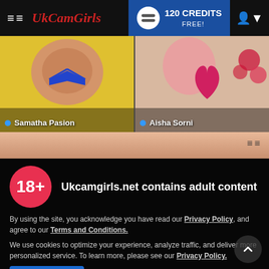UkCamGirls — 120 CREDITS FREE!
[Figure (screenshot): Two thumbnail images: left shows Samatha Pasion, right shows Aisha Sorni]
[Figure (screenshot): Partial banner strip below thumbnails]
Ukcamgirls.net contains adult content
By using the site, you acknowledge you have read our Privacy Policy, and agree to our Terms and Conditions.
We use cookies to optimize your experience, analyze traffic, and deliver more personalized service. To learn more, please see our Privacy Policy.
I AGREE